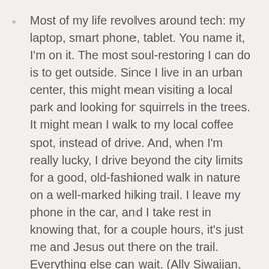Most of my life revolves around tech: my laptop, smart phone, tablet. You name it, I'm on it. The most soul-restoring I can do is to get outside. Since I live in an urban center, this might mean visiting a local park and looking for squirrels in the trees. It might mean I walk to my local coffee spot, instead of drive. And, when I'm really lucky, I drive beyond the city limits for a good, old-fashioned walk in nature on a well-marked hiking trail. I leave my phone in the car, and I take rest in knowing that, for a couple hours, it's just me and Jesus out there on the trail. Everything else can wait. (Ally Siwaijan, campaign specialist at